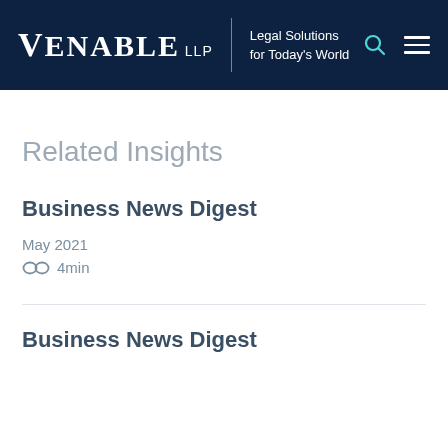VENABLE LLP | Legal Solutions for Today's World
Related Insights
Business News Digest
May 2021
4min
Business News Digest